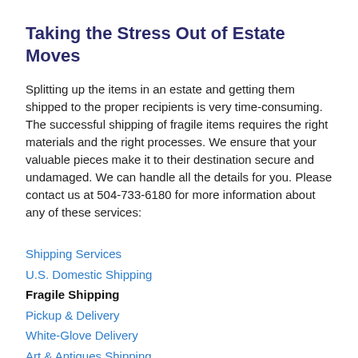Taking the Stress Out of Estate Moves
Splitting up the items in an estate and getting them shipped to the proper recipients is very time-consuming. The successful shipping of fragile items requires the right materials and the right processes. We ensure that your valuable pieces make it to their destination secure and undamaged. We can handle all the details for you. Please contact us at 504-733-6180 for more information about any of these services:
Shipping Services
U.S. Domestic Shipping
Fragile Shipping
Pickup & Delivery
White-Glove Delivery
Art & Antiques Shipping